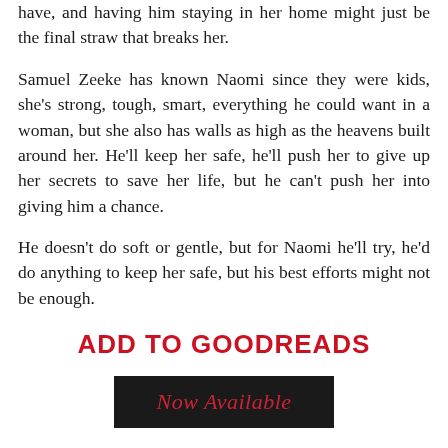have, and having him staying in her home might just be the final straw that breaks her.
Samuel Zeeke has known Naomi since they were kids, she's strong, tough, smart, everything he could want in a woman, but she also has walls as high as the heavens built around her. He'll keep her safe, he'll push her to give up her secrets to save her life, but he can't push her into giving him a chance.
He doesn't do soft or gentle, but for Naomi he'll try, he'd do anything to keep her safe, but his best efforts might not be enough.
ADD TO GOODREADS
[Figure (other): Now Available banner with dark background and red italic text]